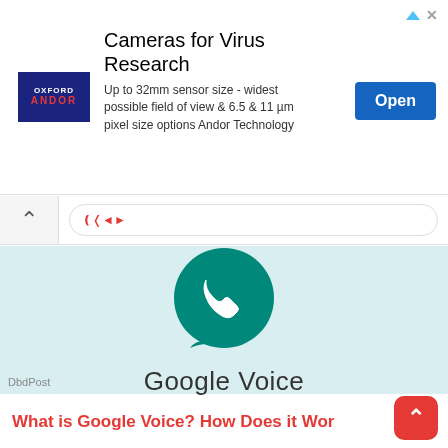[Figure (screenshot): Advertisement banner for Andor Technology cameras for virus research. Logo on left, title 'Cameras for Virus Research', body text, and blue 'Open' button on right.]
[Figure (screenshot): Google Voice app icon — teal circle with white phone handset inside a speech bubble shape — with 'Google Voice' text below, on a light blue-green background. DbdPost watermark at bottom left.]
What is Google Voice? How Does it Wor...